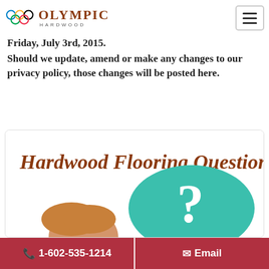[Figure (logo): Olympic Hardwood logo with Olympic rings and text 'OLYMPIC HARDWOOD']
Friday, July 3rd, 2015.
Should we update, amend or make any changes to our privacy policy, those changes will be posted here.
[Figure (illustration): Hardwood Flooring Questions? banner image with teal speech bubble containing a question mark and a person's head]
📞 1-602-535-1214   ✉ Email